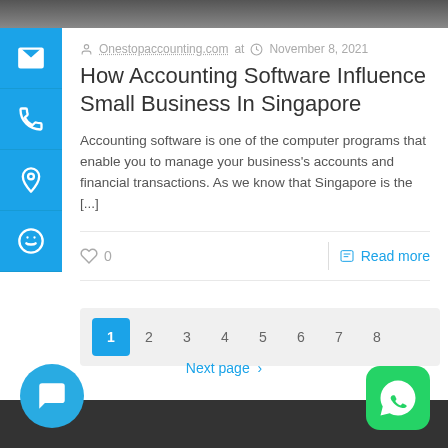[Figure (photo): Top banner image strip, dark/blurred]
Onestopaccounting.com at  November 8, 2021
How Accounting Software Influence Small Business In Singapore
Accounting software is one of the computer programs that enable you to manage your business's accounts and financial transactions. As we know that Singapore is the [...]
0
Read more
1  2  3  4  5  6  7  8
Next page >